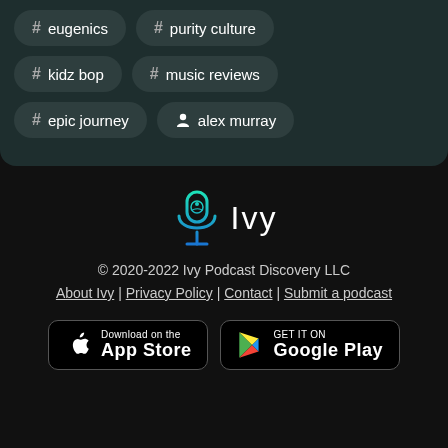# eugenics
# purity culture
# kidz bop
# music reviews
# epic journey
alex murray
[Figure (logo): Ivy Podcast Discovery logo: microphone icon with green-to-teal gradient, followed by the word Ivy in white thin font]
© 2020-2022 Ivy Podcast Discovery LLC
About Ivy | Privacy Policy | Contact | Submit a podcast
[Figure (screenshot): Download on the App Store button (Apple)]
[Figure (screenshot): GET IT ON Google Play button]